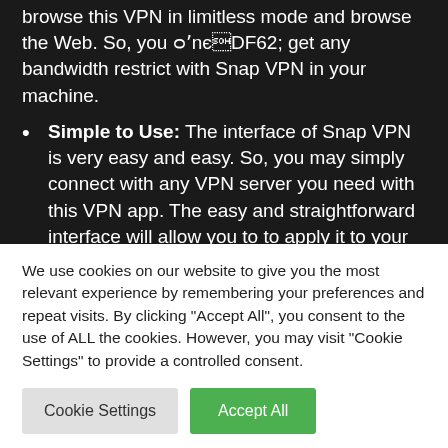browse this VPN in limitless mode and browse the Web. So, you gained't get any bandwidth restrict with Snap VPN in your machine.
Simple to Use: The interface of Snap VPN is very easy and easy. So, you may simply connect with any VPN server you need with this VPN app. The easy and straightforward interface will allow you to to apply it to your machine. You gained't face any points utilizing Snap VPN in your machine.
We use cookies on our website to give you the most relevant experience by remembering your preferences and repeat visits. By clicking "Accept All", you consent to the use of ALL the cookies. However, you may visit "Cookie Settings" to provide a controlled consent.
Cookie Settings | Accept All